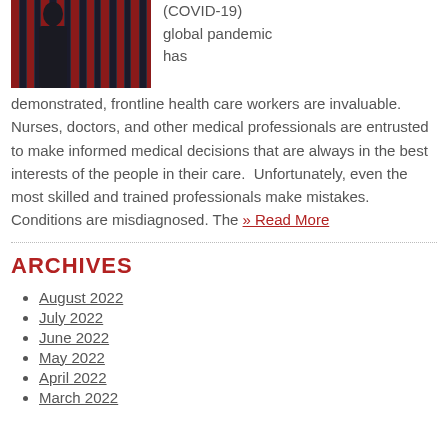[Figure (photo): Photo of a person in dark clothing standing in front of bookshelves with red and dark book spines]
(COVID-19) global pandemic has demonstrated, frontline health care workers are invaluable. Nurses, doctors, and other medical professionals are entrusted to make informed medical decisions that are always in the best interests of the people in their care.  Unfortunately, even the most skilled and trained professionals make mistakes. Conditions are misdiagnosed. The » Read More
ARCHIVES
August 2022
July 2022
June 2022
May 2022
April 2022
March 2022